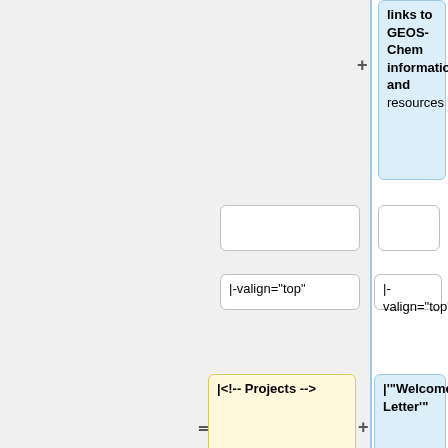links to GEOS-Chem information and resources
|-valign="top"
|-valign="top"
|<!-- Projects -->
|'''Welcome Letter'''
*[[GEOS-Chem HP]]
|[[GEOS-Chem welcome letter for new users]] (wiki page)
*[[GEOS-Chem Adjoint]]
|A welcome letter for new users of GEOS-Chem
*[[GEOS-Chem Near-Real-Time Simulations]]